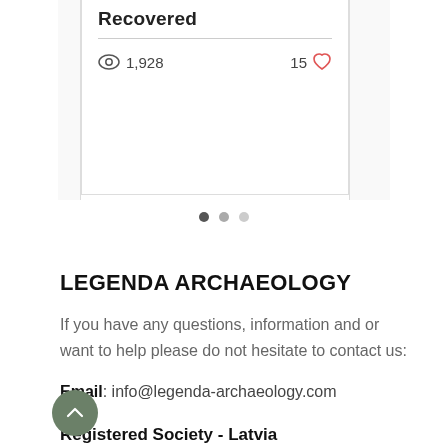[Figure (screenshot): Top portion of a blog/article card showing bold title 'Recovered', a divider line, view count 1,928 with eye icon, and 15 likes with heart icon. Card is flanked by partial card edges.]
[Figure (other): Carousel pagination dots: three dots with the first (leftmost) filled dark, the other two lighter.]
LEGENDA ARCHAEOLOGY
If you have any questions, information and or want to help please do not hesitate to contact us:
Email: info@legenda-archaeology.com
Registered Society - Latvia
Reg. 31. 5/9/2005
40008071 431